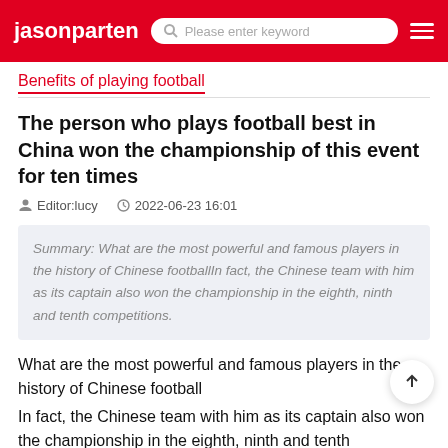jasonparten  [search: Please enter keyword]  [menu]
Benefits of playing football
The person who plays football best in China won the championship of this event for ten times
Editor:lucy   2022-06-23 16:01
Summary: What are the most powerful and famous players in the history of Chinese footballIn fact, the Chinese team with him as its captain also won the championship in the eighth, ninth and tenth competitions.
What are the most powerful and famous players in the history of Chinese football
In fact, the Chinese team with him as its captain also won the championship in the eighth, ninth and tenth competitions.